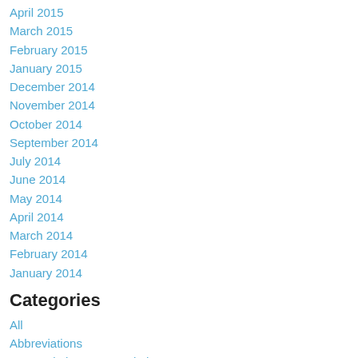April 2015
March 2015
February 2015
January 2015
December 2014
November 2014
October 2014
September 2014
July 2014
June 2014
May 2014
April 2014
March 2014
February 2014
January 2014
Categories
All
Abbreviations
Accumulative Vs Cumulative
Acronyms